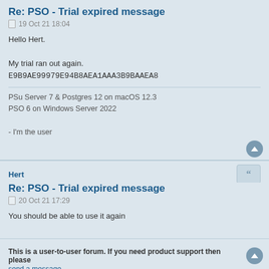Re: PSO - Trial expired message
19 Oct 21 18:04
Hello Hert.

My trial ran out again.
E9B9AE99979E94B8AEA1AAA3B9BAAEA8
PSu Server 7 & Postgres 12 on macOS 12.3
PSO 6 on Windows Server 2022

- I'm the user
Hert
Re: PSO - Trial expired message
20 Oct 21 17:29
You should be able to use it again
This is a user-to-user forum. If you need product support then please send a message